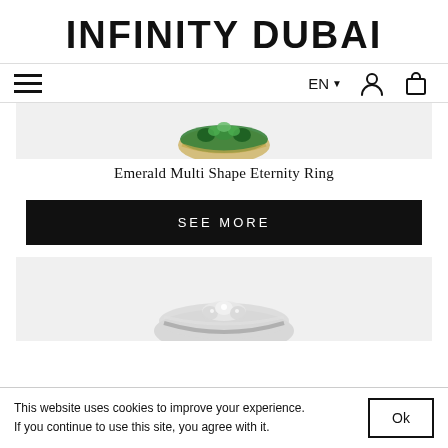INFINITY DUBAI
≡   EN ▾  [user icon]  [bag icon]
[Figure (photo): Partial image of an emerald multi shape eternity ring with green gemstones on a light grey background]
Emerald Multi Shape Eternity Ring
SEE MORE
[Figure (photo): Partial image of a silver ring with diamonds on a light grey background]
This website uses cookies to improve your experience. If you continue to use this site, you agree with it.
Ok